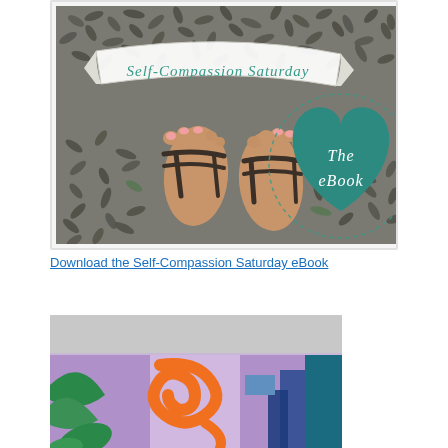[Figure (photo): Self-Compassion Saturday eBook cover: a pebble mosaic floor with feet in sandals, a banner reading 'Self-Compassion Saturday', and a teal heart shape with 'The eBook' written inside.]
Download the Self-Compassion Saturday eBook
[Figure (photo): Colorful mural on a building exterior with purple, orange, blue, and green shapes.]